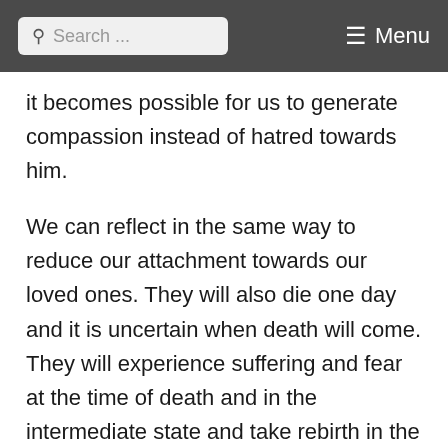Search ... Menu
it becomes possible for us to generate compassion instead of hatred towards him.
We can reflect in the same way to reduce our attachment towards our loved ones. They will also die one day and it is uncertain when death will come. They will experience suffering and fear at the time of death and in the intermediate state and take rebirth in the lower realms.  Reflecting in this way, we substitute our attachment and desire for them with compassion.
We ourselves are also impermanent and we should reflect on the fear that we will encounter at the time of our own death. We can then